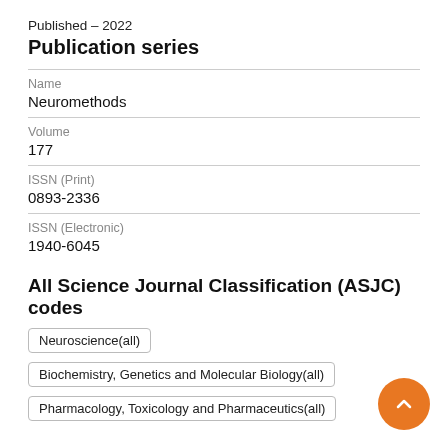Published - 2022
Publication series
| Name | Neuromethods |
| Volume | 177 |
| ISSN (Print) | 0893-2336 |
| ISSN (Electronic) | 1940-6045 |
All Science Journal Classification (ASJC) codes
Neuroscience(all)
Biochemistry, Genetics and Molecular Biology(all)
Pharmacology, Toxicology and Pharmaceutics(all)